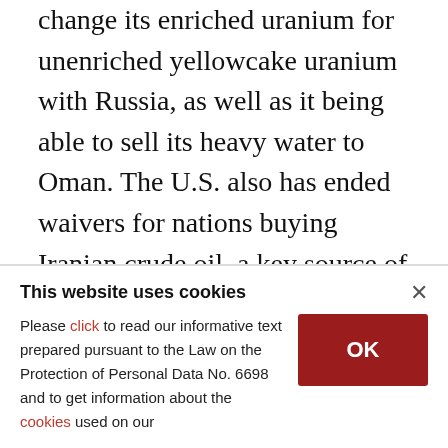change its enriched uranium for unenriched yellowcake uranium with Russia, as well as it being able to sell its heavy water to Oman. The U.S. also has ended waivers for nations buying Iranian crude oil, a key source of revenue for Iran's government.
Currently, the accord limits Iran to enriching uranium to 3.67%, which can fuel a commercial nuclear power plant. Weapons-grade uranium needs to be enriched to around 90%. However, once a country enriches uranium to around 20%,
This website uses cookies
Please click to read our informative text prepared pursuant to the Law on the Protection of Personal Data No. 6698 and to get information about the cookies used on our